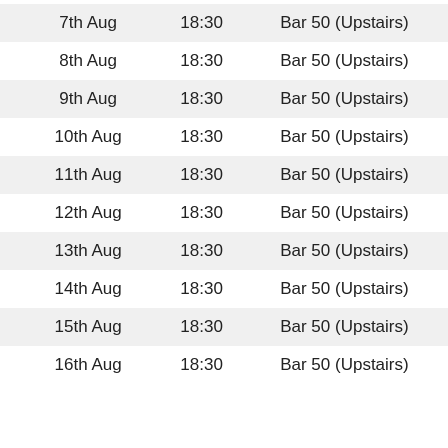| 7th Aug | 18:30 | Bar 50 (Upstairs) |
| 8th Aug | 18:30 | Bar 50 (Upstairs) |
| 9th Aug | 18:30 | Bar 50 (Upstairs) |
| 10th Aug | 18:30 | Bar 50 (Upstairs) |
| 11th Aug | 18:30 | Bar 50 (Upstairs) |
| 12th Aug | 18:30 | Bar 50 (Upstairs) |
| 13th Aug | 18:30 | Bar 50 (Upstairs) |
| 14th Aug | 18:30 | Bar 50 (Upstairs) |
| 15th Aug | 18:30 | Bar 50 (Upstairs) |
| 16th Aug | 18:30 | Bar 50 (Upstairs) |